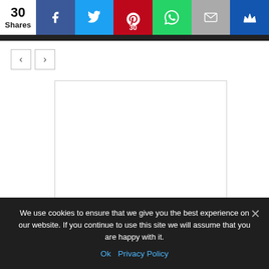[Figure (screenshot): Social share bar with 30 shares count, Facebook, Twitter, Pinterest (30), WhatsApp, Email, and crown/notify buttons]
[Figure (screenshot): Navigation previous/next arrow buttons]
[Figure (screenshot): White content placeholder box with border]
We use cookies to ensure that we give you the best experience on our website. If you continue to use this site we will assume that you are happy with it.
Ok   Privacy Policy